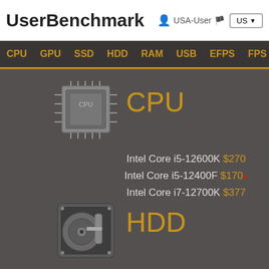UserBenchmark  USA-User  US
CPU  GPU  SSD  HDD  RAM  USB  EFPS  FPS  Sk
[Figure (screenshot): CPU icon - chip graphic]
CPU
Intel Core i5-12600K $270
Intel Core i5-12400F $170 🔥
Intel Core i7-12700K $377
Nvidia
Nvidia
Nvidia
[Figure (screenshot): HDD icon - hard drive graphic]
HDD
Seagate Barracuda 1TB (2016) $34 🔥
WD Blue 1TB (2012) $29 🔥
Seagate Barracuda 2TB (2016) $71 🔥
Corsair Vengeance
Corsair Vengeance
G.SKILL Trident Z